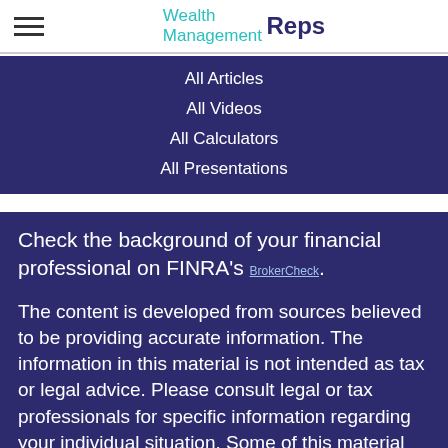Wealth Management Reps
All Articles
All Videos
All Calculators
All Presentations
Check the background of your financial professional on FINRA's BrokerCheck.
The content is developed from sources believed to be providing accurate information. The information in this material is not intended as tax or legal advice. Please consult legal or tax professionals for specific information regarding your individual situation. Some of this material was developed and produced by FMG Suite to provide information on